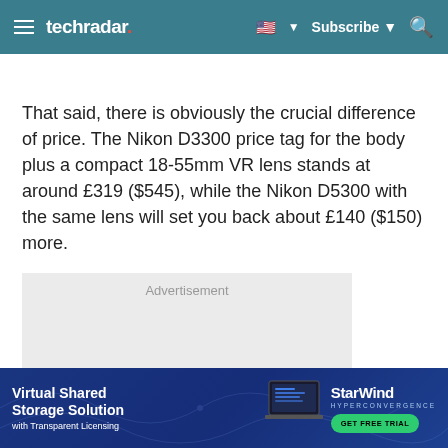techradar
That said, there is obviously the crucial difference of price. The Nikon D3300 price tag for the body plus a compact 18-55mm VR lens stands at around £319 ($545), while the Nikon D5300 with the same lens will set you back about £140 ($150) more.
[Figure (other): Advertisement placeholder box]
[Figure (other): StarWind Hyperconvergence banner ad: Virtual Shared Storage Solution with Transparent Licensing. GET FREE TRIAL button.]